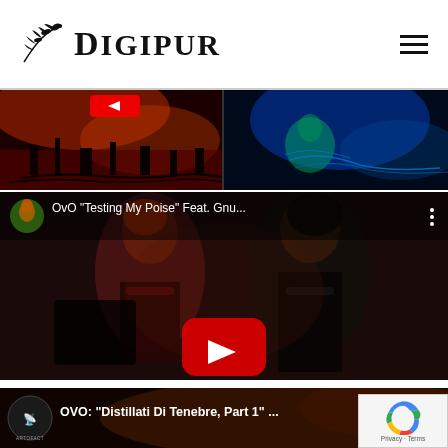Digipur
[Figure (photo): Two side-by-side photos: left shows red-lit stage with instruments and equipment; right shows blue-lit figure crouching with ropes/cables]
[Figure (screenshot): YouTube video embed: OvO 'Testing My Poise' Feat. Gnu... - shows two women, one in corset, with YouTube play button overlay]
[Figure (screenshot): YouTube video thumbnail bar: OVO: 'Distillati Di Tenebre, Part 1'... with Artofact channel logo]